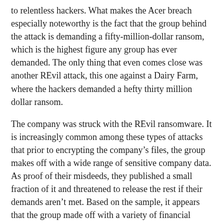to relentless hackers. What makes the Acer breach especially noteworthy is the fact that the group behind the attack is demanding a fifty-million-dollar ransom, which is the highest figure any group has ever demanded. The only thing that even comes close was another REvil attack, this one against a Dairy Farm, where the hackers demanded a hefty thirty million dollar ransom.
The company was struck with the REvil ransomware. It is increasingly common among these types of attacks that prior to encrypting the company's files, the group makes off with a wide range of sensitive company data. As proof of their misdeeds, they published a small fraction of it and threatened to release the rest if their demands aren't met. Based on the sample, it appears that the group made off with a variety of financial spreadsheets, bank balance information and assorted banking communications.